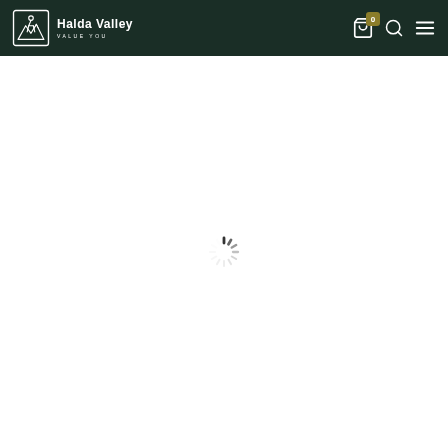[Figure (logo): Halda Valley logo with mountain/person icon in a square frame, white on dark green background, with text 'Halda Valley' and tagline 'VALUE YOU']
[Figure (screenshot): Loading spinner (circular dashed spinner) centered on white page background, indicating page content is loading]